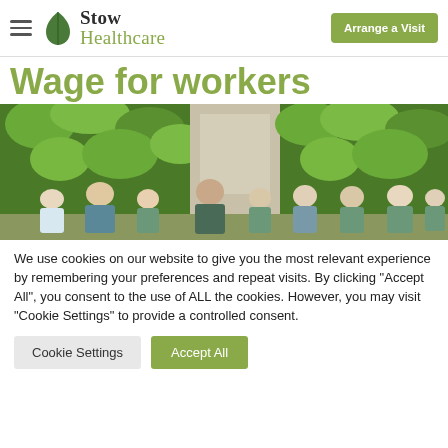Stow Healthcare — Arrange a Visit
Wage for workers
[Figure (photo): Group of Stow Healthcare staff members in uniforms standing in front of a building covered with green ivy/climbing plants]
We use cookies on our website to give you the most relevant experience by remembering your preferences and repeat visits. By clicking "Accept All", you consent to the use of ALL the cookies. However, you may visit "Cookie Settings" to provide a controlled consent.
Cookie Settings | Accept All